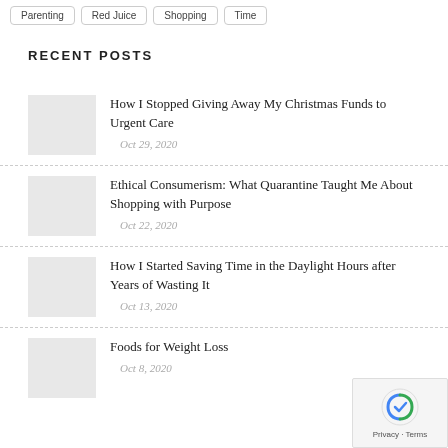Parenting
Red Juice
Shopping
Time
RECENT POSTS
How I Stopped Giving Away My Christmas Funds to Urgent Care
Oct 29, 2020
Ethical Consumerism: What Quarantine Taught Me About Shopping with Purpose
Oct 22, 2020
How I Started Saving Time in the Daylight Hours after Years of Wasting It
Oct 13, 2020
Foods for Weight Loss
Oct 8, 2020